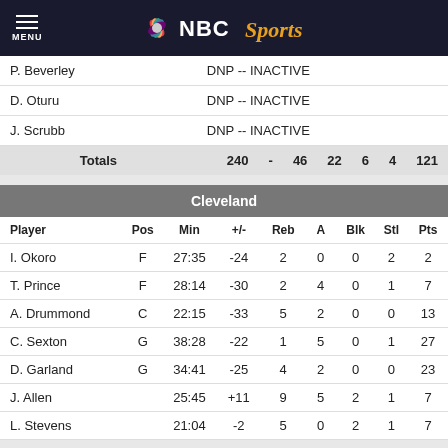NBC Sports
| Player |  |  |  |  |  |  |  |  |
| --- | --- | --- | --- | --- | --- | --- | --- | --- |
| P. Beverley | DNP -- INACTIVE |  |  |  |  |  |  |  |
| D. Oturu | DNP -- INACTIVE |  |  |  |  |  |  |  |
| J. Scrubb | DNP -- INACTIVE |  |  |  |  |  |  |  |
| Totals |  | 240 | - | 46 | 22 | 6 | 4 | 121 |
Cleveland
| Player | Pos | Min | +/- | Reb | A | Blk | Stl | Pts |
| --- | --- | --- | --- | --- | --- | --- | --- | --- |
| I. Okoro | F | 27:35 | -24 | 2 | 0 | 0 | 2 | 2 |
| T. Prince | F | 28:14 | -30 | 2 | 4 | 0 | 1 | 7 |
| A. Drummond | C | 22:15 | -33 | 5 | 2 | 0 | 0 | 13 |
| C. Sexton | G | 38:28 | -22 | 1 | 5 | 0 | 1 | 27 |
| D. Garland | G | 34:41 | -25 | 4 | 2 | 0 | 0 | 23 |
| J. Allen |  | 25:45 | +11 | 9 | 5 | 2 | 1 | 7 |
| L. Stevens |  | 21:04 | -2 | 5 | 0 | 2 | 1 | 7 |